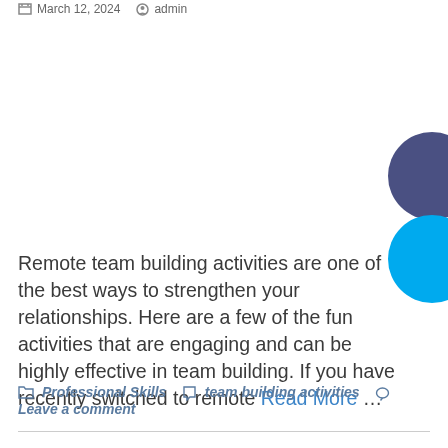March 12, 2024   admin
Remote team building activities are one of the best ways to strengthen your relationships. Here are a few of the fun activities that are engaging and can be highly effective in team building. If you have recently switched to remote Read More ...
Professional Skills   team building activities   Leave a comment